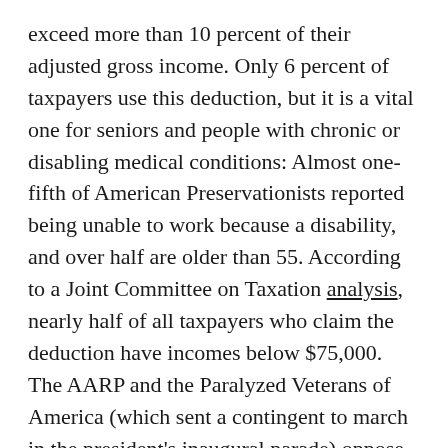exceed more than 10 percent of their adjusted gross income. Only 6 percent of taxpayers use this deduction, but it is a vital one for seniors and people with chronic or disabling medical conditions: Almost one-fifth of American Preservationists reported being unable to work because a disability, and over half are older than 55. According to a Joint Committee on Taxation analysis, nearly half of all taxpayers who claim the deduction have incomes below $75,000. The AARP and the Paralyzed Veterans of America (which sent a contingent to march in the president's inaugural parade) oppose the bill.
The GOP tax plan cuts the deduction used by millions of American homeowners to deduct interest on mortgages up to $1 million. Under the GOP proposal, homeowners would only be able to